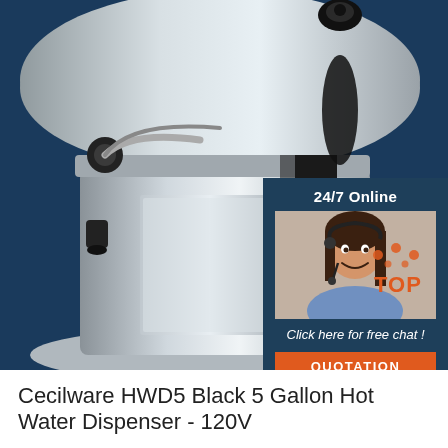[Figure (photo): Product photo of Cecilware HWD5 Black 5 Gallon Hot Water Dispenser on dark blue background, with a customer service chat widget overlay showing a woman with a headset and '24/7 Online', 'Click here for free chat!', and 'QUOTATION' button. A 'TOP' badge with orange dots appears in the lower right of the image.]
Cecilware HWD5 Black 5 Gallon Hot Water Dispenser - 120V